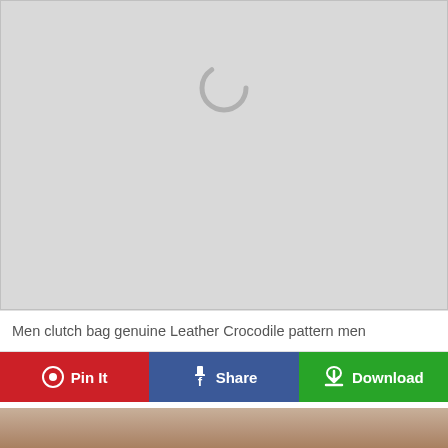[Figure (photo): Loading placeholder: large grey rectangle with a grey circular spinner/loading indicator centered near the top]
Men clutch bag genuine Leather Crocodile pattern men
[Figure (screenshot): Action bar with three buttons: red 'Pin It' button with Pinterest icon, blue 'Share' button with Facebook icon, green 'Download' button with download cloud icon]
[Figure (photo): Partial photo of a leather bag (brown/tan tones) cropped at bottom of page]